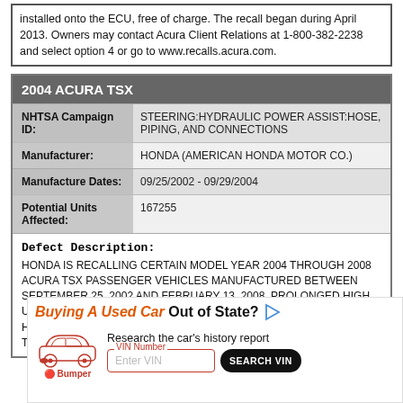installed onto the ECU, free of charge. The recall began during April 2013. Owners may contact Acura Client Relations at 1-800-382-2238 and select option 4 or go to www.recalls.acura.com.
| 2004 ACURA TSX |
| --- |
| NHTSA Campaign ID: | STEERING:HYDRAULIC POWER ASSIST:HOSE, PIPING, AND CONNECTIONS |
| Manufacturer: | HONDA (AMERICAN HONDA MOTOR CO.) |
| Manufacture Dates: | 09/25/2002 - 09/29/2004 |
| Potential Units Affected: | 167255 |
Defect Description: HONDA IS RECALLING CERTAIN MODEL YEAR 2004 THROUGH 2008 ACURA TSX PASSENGER VEHICLES MANUFACTURED BETWEEN SEPTEMBER 25, 2002 AND FEBRUARY 13, 2008. PROLONGED HIGH UNDER HOOD TEMPERATURES MAY CAUSE THE POWER STEERING HOSE TO DETERIORATE PREMATURELY AND MAY CAUSE THE HOSE TO CRACK AND LEAK POWER STEERING OIL.
[Figure (infographic): Advertisement for Bumper VIN lookup service: 'Buying A Used Car Out of State?' with car illustration, VIN Number input field, and SEARCH VIN button]